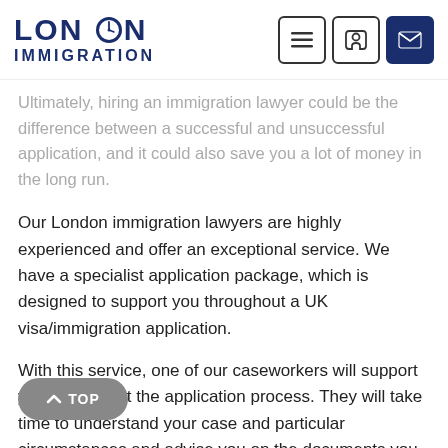London Immigration
Ultimately, hiring an immigration lawyer could be the difference between a successful and unsuccessful application, and it could also save you a lot of money in the long run.
Our London immigration lawyers are highly experienced and offer an exceptional service. We have a specialist application package, which is designed to support you throughout a UK visa/immigration application.
With this service, one of our caseworkers will support you throughout the application process. They will take time to understand your case and particular circumstances and advise you on the documents you will need to include in your portfolio of evidence. They will also complete your visa application form, ensuring that it meets all the